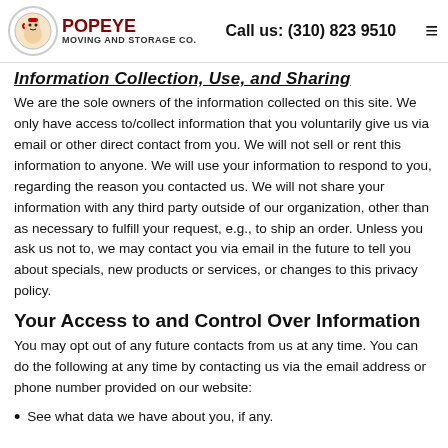Popeye Moving and Storage Co. | Call us: (310) 823 9510
Information Collection, Use, and Sharing
We are the sole owners of the information collected on this site. We only have access to/collect information that you voluntarily give us via email or other direct contact from you. We will not sell or rent this information to anyone. We will use your information to respond to you, regarding the reason you contacted us. We will not share your information with any third party outside of our organization, other than as necessary to fulfill your request, e.g., to ship an order. Unless you ask us not to, we may contact you via email in the future to tell you about specials, new products or services, or changes to this privacy policy.
Your Access to and Control Over Information
You may opt out of any future contacts from us at any time. You can do the following at any time by contacting us via the email address or phone number provided on our website:
See what data we have about you, if any.